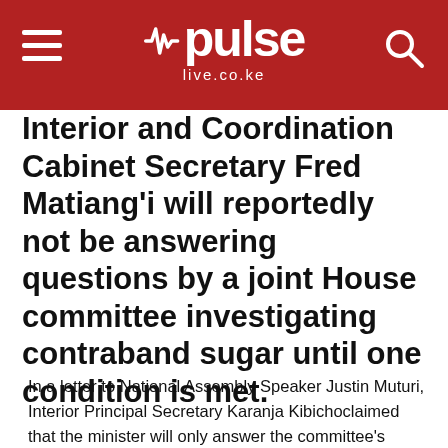pulse live.co.ke
Interior and Coordination Cabinet Secretary Fred Matiang’i will reportedly not be answering questions by a joint House committee investigating contraband sugar until one condition is met.
In a letter to National Assembly Speaker Justin Muturi, Interior Principal Secretary Karanja Kibichoclaimed that the minister will only answer the committee’s questions after police investigations were concluded.